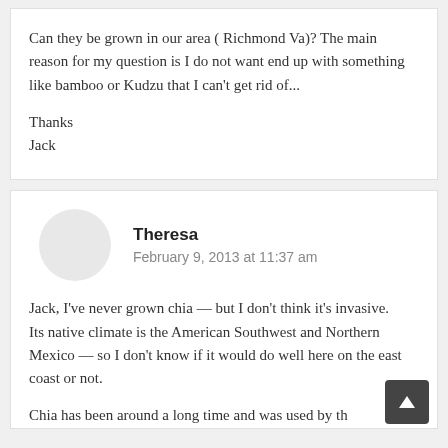Can they be grown in our area ( Richmond Va)? The main reason for my question is I do not want end up with something like bamboo or Kudzu that I can't get rid of...
Thanks
Jack
Theresa
February 9, 2013 at 11:37 am
Jack, I've never grown chia — but I don't think it's invasive.
Its native climate is the American Southwest and Northern Mexico — so I don't know if it would do well here on the east coast or not.
Chia has been around a long time and was used by th...